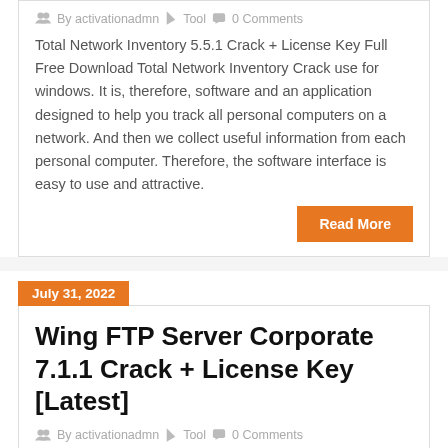By activationadmn   Tool   0 Comments
Total Network Inventory 5.5.1 Crack + License Key Full Free Download Total Network Inventory Crack use for windows. It is, therefore, software and an application designed to help you track all personal computers on a network. And then we collect useful information from each personal computer. Therefore, the software interface is easy to use and attractive.
Read More
July 31, 2022
Wing FTP Server Corporate 7.1.1 Crack + License Key [Latest]
By activationadmn   Tool   0 Comments